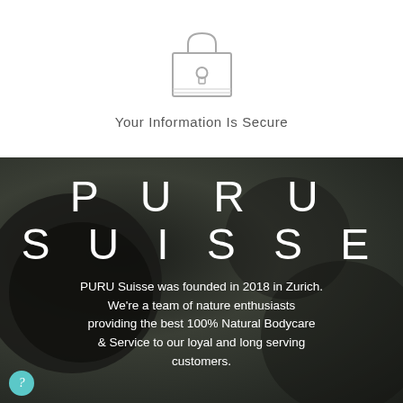[Figure (illustration): Lock/padlock icon in a square border, indicating security]
Your Information Is Secure
[Figure (photo): Dark background with circular cosmetic/beauty product jars]
PURU SUISSE
PURU Suisse was founded in 2018 in Zurich. We're a team of nature enthusiasts providing the best 100% Natural Bodycare & Service to our loyal and long serving customers.